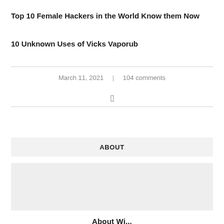Top 10 Female Hackers in the World Know them Now
10 Unknown Uses of Vicks Vaporub
March 11, 2021  |  104 comments
[Figure (other): Bookmark or share icon]
ABOUT
[Figure (photo): Gray placeholder image box]
About Wi...